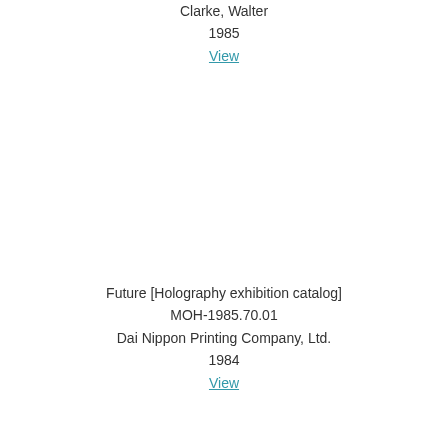Clarke, Walter
1985
View
Future [Holography exhibition catalog]
MOH-1985.70.01
Dai Nippon Printing Company, Ltd.
1984
View